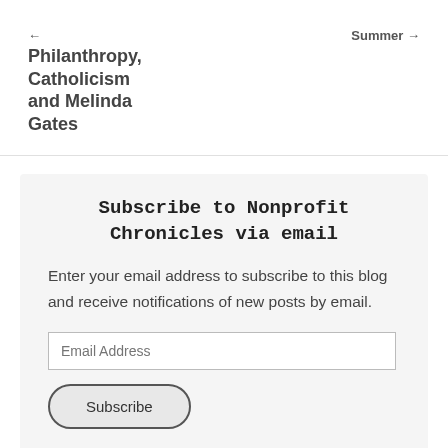← | Summer →
Philanthropy, Catholicism and Melinda Gates
Subscribe to Nonprofit Chronicles via email
Enter your email address to subscribe to this blog and receive notifications of new posts by email.